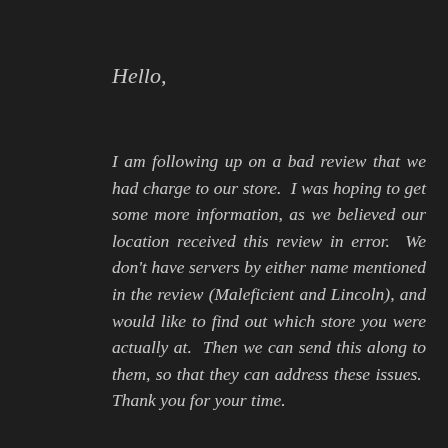Hello,
I am following up on a bad review that we had charge to our store. I was hoping to get some more information, as we believed our location received this review in error. We don't have servers by either name mentioned in the review (Maleficient and Lincoln), and would like to find out which store you were actually at. Then we can send this along to them, so that they can address these issues. Thank you for your time.